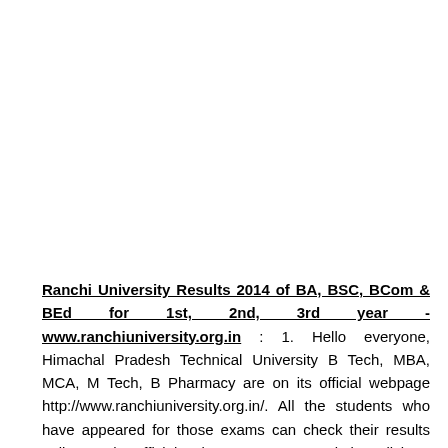Ranchi University Results 2014 of BA, BSC, BCom & BEd for 1st, 2nd, 3rd year - www.ranchiuniversity.org.in : 1. Hello everyone, Himachal Pradesh Technical University B Tech, MBA, MCA, M Tech, B Pharmacy are on its official webpage http://www.ranchiuniversity.org.in/. All the students who have appeared for those exams can check their results online on the official webpage or on our website. Click on the results page,